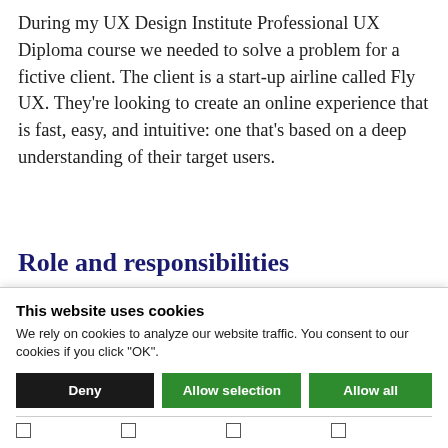During my UX Design Institute Professional UX Diploma course we needed to solve a problem for a fictive client. The client is a start-up airline called Fly UX. They're looking to create an online experience that is fast, easy, and intuitive: one that's based on a deep understanding of their target users.
Role and responsibilities
During the course, my role as UX Designer
[Figure (screenshot): Cookie consent banner overlay with title 'This website uses cookies', description text, three buttons (Deny, Allow selection, Allow all), and a row of checkboxes at the bottom.]